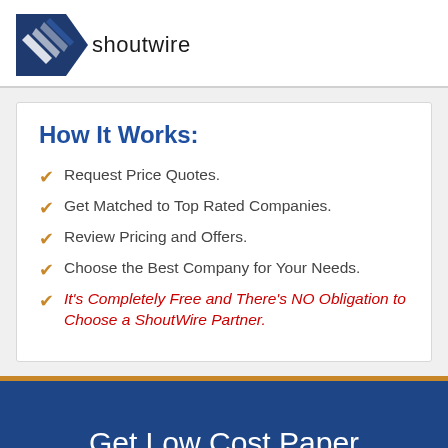[Figure (logo): ShoutWire logo: dark blue triangular bird/arrow icon with white stripe details, followed by the text 'shoutwire' in dark grey]
How It Works:
Request Price Quotes.
Get Matched to Top Rated Companies.
Review Pricing and Offers.
Choose the Best Company for Your Needs.
It's Completely Free and There's NO Obligation to Choose a ShoutWire Partner.
Get Low Cost Paper Shredding in Fort Worth